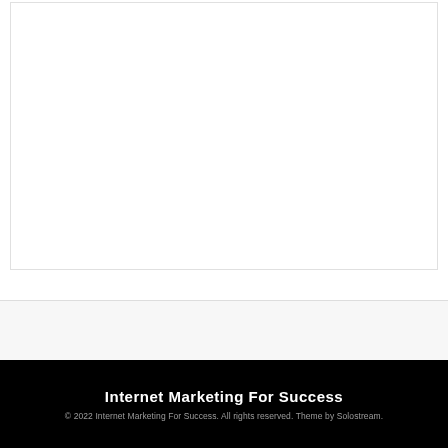Internet Marketing For Success
© 2022 Internet Marketing For Success. All rights reserved. Theme by Solostream.